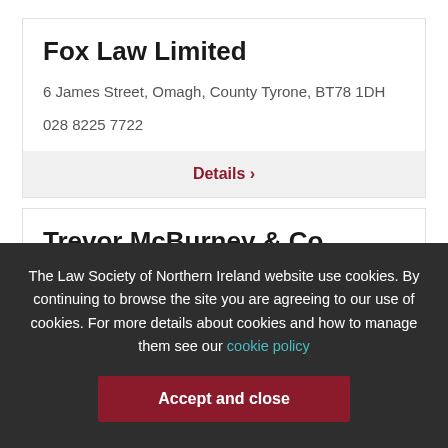Fox Law Limited
6 James Street, Omagh, County Tyrone, BT78 1DH
028 8225 7722
Details ›
Trevor McBurney & Co
The Law Society of Northern Ireland website use cookies. By continuing to browse the site you are agreeing to our use of cookies. For more details about cookies and how to manage them see our cookie policy
Accept and close